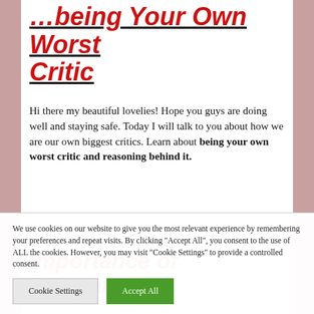…being Your Own Worst Critic
Hi there my beautiful lovelies! Hope you guys are doing well and staying safe. Today I will talk to you about how we are our own biggest critics. Learn about being your own worst critic and reasoning behind it.
Importance of Relaxation
We use cookies on our website to give you the most relevant experience by remembering your preferences and repeat visits. By clicking "Accept All", you consent to the use of ALL the cookies. However, you may visit "Cookie Settings" to provide a controlled consent.